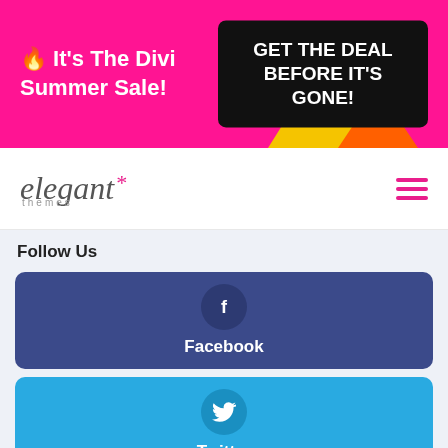[Figure (screenshot): Promotional banner with pink background. Left side shows text 'It's The Divi Summer Sale!' in white bold text. Right side shows a black box with text 'GET THE DEAL BEFORE IT'S GONE!' in white bold text. Decorative yellow and orange triangular shapes on the right side.]
[Figure (logo): Elegant Themes logo in italic serif font with a pink asterisk, followed by 'themes' in small caps below. Hamburger menu icon in pink on the right.]
Follow Us
[Figure (infographic): Facebook social follow button card. Dark blue-purple background with a circular Facebook 'f' icon and label 'Facebook' below.]
[Figure (infographic): Twitter social follow button card. Sky blue background with a circular Twitter bird icon and label 'Twitter' below.]
[Figure (infographic): LinkedIn social follow button card. Dark blue background with a circular LinkedIn 'in' icon and label 'LinkedIn' below. Pink chat button overlay on bottom right.]